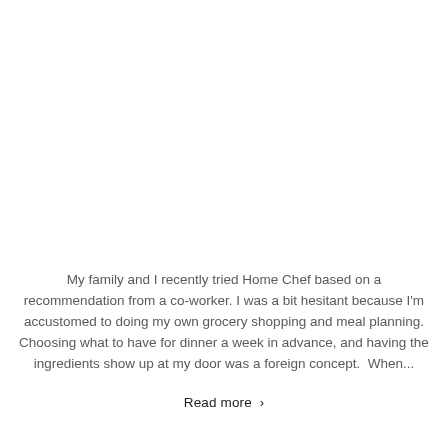My family and I recently tried Home Chef based on a recommendation from a co-worker. I was a bit hesitant because I'm accustomed to doing my own grocery shopping and meal planning. Choosing what to have for dinner a week in advance, and having the ingredients show up at my door was a foreign concept.  When...
Read more ›